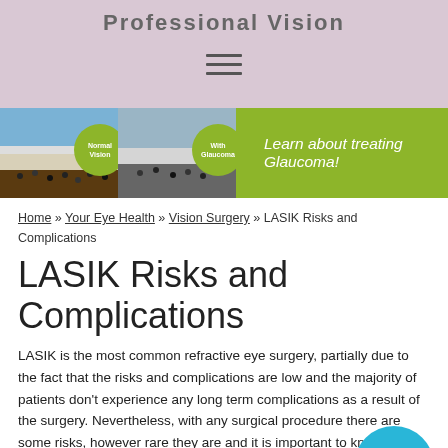Professional Vision
[Figure (screenshot): Hamburger menu icon (three horizontal lines) on pink/mauve background]
[Figure (photo): Banner with two ski slope photos side by side with green circular labels reading 'Normal Vision' and 'With Glaucoma', on a green background with text 'Learn about treating Glaucoma!']
Home » Your Eye Health » Vision Surgery » LASIK Risks and Complications
LASIK Risks and Complications
LASIK is the most common refractive eye surgery, partially due to the fact that the risks and complications are low and the majority of patients don't experience any long term complications as a result of the surgery. Nevertheless, with any surgical procedure there are some risks, however rare they are and it is important to know them and to discuss them